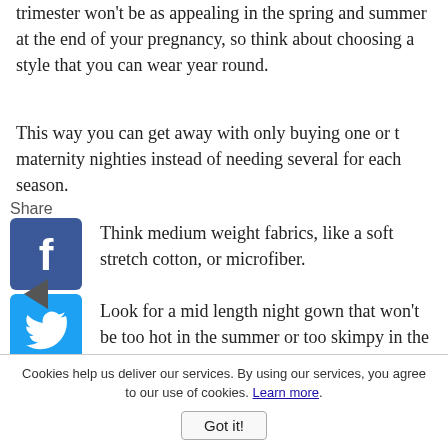trimester won't be as appealing in the spring and summer at the end of your pregnancy, so think about choosing a style that you can wear year round.
This way you can get away with only buying one or two maternity nighties instead of needing several for each season.
[Figure (logo): Facebook share button icon (blue square with white 'f')]
[Figure (logo): Twitter share button icon (blue square with white bird)]
[Figure (logo): Pinterest share button icon (red square with white 'p')]
[Figure (other): Left-pointing triangle/arrow icon for sharing]
Think medium weight fabrics, like a soft stretch cotton, or microfiber.
Look for a mid length night gown that won't be too hot in the summer or too skimpy in the winter.
Opt for a color or print that's versatile in any
Cookies help us deliver our services. By using our services, you agree to our use of cookies. Learn more.
Got it!